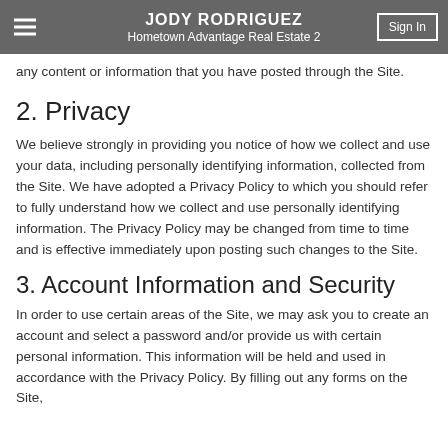JODY RODRIGUEZ
Hometown Advantage Real Estate 2
any content or information that you have posted through the Site.
2. Privacy
We believe strongly in providing you notice of how we collect and use your data, including personally identifying information, collected from the Site. We have adopted a Privacy Policy to which you should refer to fully understand how we collect and use personally identifying information. The Privacy Policy may be changed from time to time and is effective immediately upon posting such changes to the Site.
3. Account Information and Security
In order to use certain areas of the Site, we may ask you to create an account and select a password and/or provide us with certain personal information. This information will be held and used in accordance with the Privacy Policy. By filling out any forms on the Site,